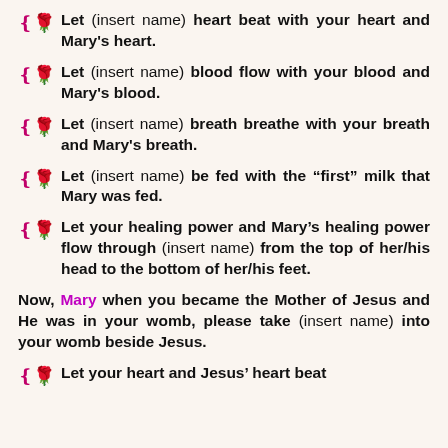Let (insert name) heart beat with your heart and Mary's heart.
Let (insert name) blood flow with your blood and Mary's blood.
Let (insert name) breath breathe with your breath and Mary's breath.
Let (insert name) be fed with the “first” milk that Mary was fed.
Let your healing power and Mary’s healing power flow through (insert name) from the top of her/his head to the bottom of her/his feet.
Now, Mary when you became the Mother of Jesus and He was in your womb, please take (insert name) into your womb beside Jesus.
Let your heart and Jesus’ heart beat